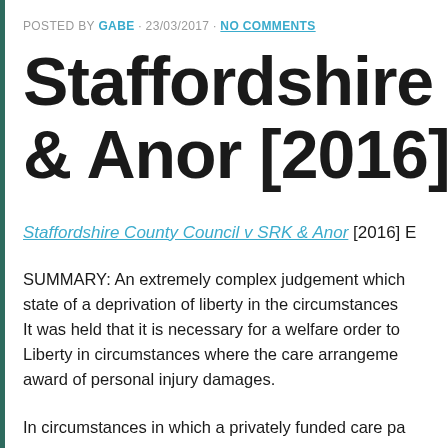POSTED BY GABE · 23/03/2017 · NO COMMENTS
Staffordshire County Council v SRK & Anor [2016] EW...
Staffordshire County Council v SRK & Anor [2016] E...
SUMMARY: An extremely complex judgement which... state of a deprivation of liberty in the circumstances... It was held that it is necessary for a welfare order to... Liberty in circumstances where the care arrangements... award of personal injury damages.
In circumstances in which a privately funded care pa...